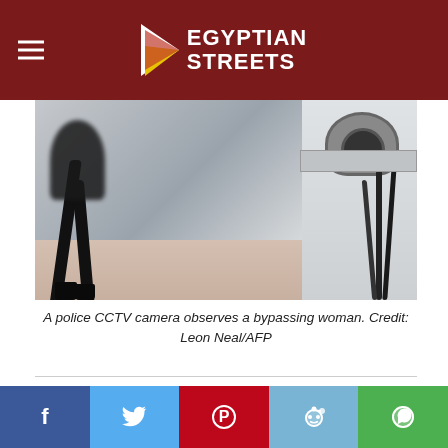Egyptian Streets
[Figure (photo): A police CCTV camera observing a bypassing woman. The right side shows a CCTV camera apparatus; the left shows a woman walking on a light-colored floor.]
A police CCTV camera observes a bypassing woman. Credit: Leon Neal/AFP
A hack on Italian surveillance firm Hacking Team late Sunday revealed active contracts between the company and the Egyptian Ministry of Defense that date back to 2011.
The unknown hacker uploaded a 400 GB file to a torrent, revealing contracts, invoices, source codes, and internal correspondence between the firm and
Facebook Twitter Pinterest Reddit WhatsApp